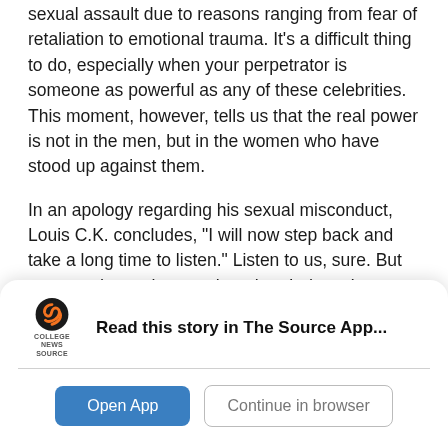sexual assault due to reasons ranging from fear of retaliation to emotional trauma. It's a difficult thing to do, especially when your perpetrator is someone as powerful as any of these celebrities. This moment, however, tells us that the real power is not in the men, but in the women who have stood up against them.
In an apology regarding his sexual misconduct, Louis C.K. concludes, "I will now step back and take a long time to listen." Listen to us, sure. But you can do much more than that. It doesn't matter if you say you're a feminist. If you really want to show your support of women, act on what you've listened to and heard.
[Figure (logo): College News Source app logo - orange and black swirl S icon with text COLLEGE NEWS SOURCE below]
Read this story in The Source App...
Open App
Continue in browser